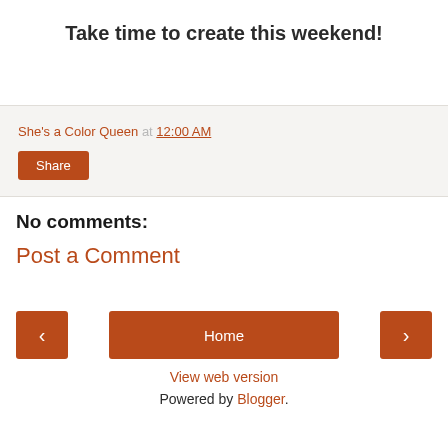Take time to create this weekend!
She's a Color Queen at 12:00 AM
Share
No comments:
Post a Comment
< Home >
View web version
Powered by Blogger.